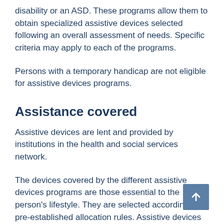disability or an ASD. These programs allow them to obtain specialized assistive devices selected following an overall assessment of needs. Specific criteria may apply to each of the programs.
Persons with a temporary handicap are not eligible for assistive devices programs.
Assistance covered
Assistive devices are lent and provided by institutions in the health and social services network.
The devices covered by the different assistive devices programs are those essential to the person's lifestyle. They are selected according to pre-established allocation rules. Assistive devices for leisure and sports activities are not covered by the